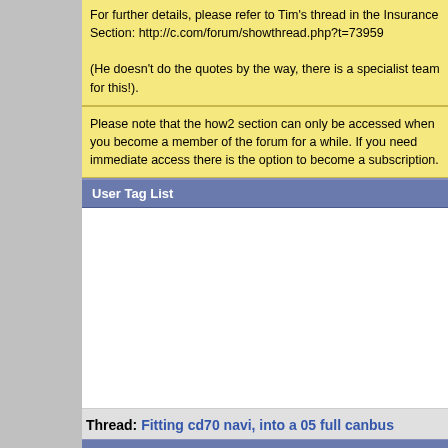For further details, please refer to Tim's thread in the Insurance Section: http://c.com/forum/showthread.php?t=73959

(He doesn't do the quotes by the way, there is a specialist team for this!).
Please note that the how2 section can only be accessed when you become a member of the forum for a while. If you need immediate access there is the option to become a subscription.
User Tag List
Thread: Fitting cd70 navi, into a 05 full canbus
23rd February 2013, 17:23
Jow20
Regular Member
Fitting cd70 navi, into a 05 f
Is this a straight plug and play the c... anything? Cheers